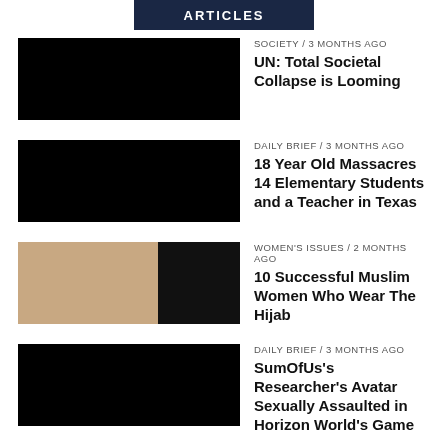ARTICLES
[Figure (photo): Black thumbnail image for article 1]
SOCIETY / 3 months ago
UN: Total Societal Collapse is Looming
[Figure (photo): Black thumbnail image for article 2]
DAILY BRIEF / 3 months ago
18 Year Old Massacres 14 Elementary Students and a Teacher in Texas
[Figure (photo): Photo of two women at a desk, one wearing hijab]
WOMEN'S ISSUES / 2 months ago
10 Successful Muslim Women Who Wear The Hijab
[Figure (photo): Black thumbnail image for article 4]
DAILY BRIEF / 3 months ago
SumOfUs's Researcher's Avatar Sexually Assaulted in Horizon World's Game
[Figure (photo): Black thumbnail image for article 5]
HEALTH / 3 months ago
Monkeypox: Something To Be 'Concerned About' Says Biden